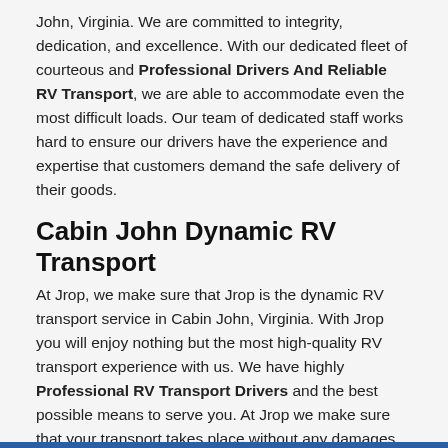John, Virginia. We are committed to integrity, dedication, and excellence. With our dedicated fleet of courteous and Professional Drivers And Reliable RV Transport, we are able to accommodate even the most difficult loads. Our team of dedicated staff works hard to ensure our drivers have the experience and expertise that customers demand the safe delivery of their goods.
Cabin John Dynamic RV Transport
At Jrop, we make sure that Jrop is the dynamic RV transport service in Cabin John, Virginia. With Jrop you will enjoy nothing but the most high-quality RV transport experience with us. We have highly Professional RV Transport Drivers and the best possible means to serve you. At Jrop we make sure that your transport takes place without any damages.